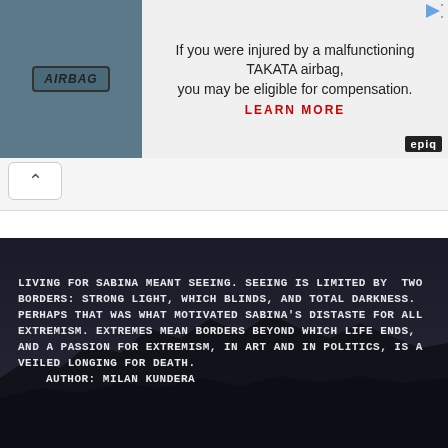[Figure (screenshot): Advertisement banner: left side shows airbag fabric with AIRBAG label; right side shows text 'If you were injured by a malfunctioning TAKATA airbag, you may be eligible for compensation. LEARN MORE' with epiq logo badge.]
[Figure (screenshot): Navigation bar with chevron/back button (upward caret symbol) on white rounded button.]
[Figure (photo): Dark mountain landscape at night with quote text overlay: 'LIVING FOR SABINA MEANT SEEING. SEEING IS LIMITED BY TWO BORDERS: STRONG LIGHT, WHICH BLINDS, AND TOTAL DARKNESS. PERHAPS THAT WAS WHAT MOTIVATED SABINA'S DISTASTE FOR ALL EXTREMISM. EXTREMES MEAN BORDERS BEYOND WHICH LIFE ENDS, AND A PASSION FOR EXTREMISM, IN ART AND IN POLITICS, IS A VEILED LONGING FOR DEATH. AUTHOR: MILAN KUNDERA']